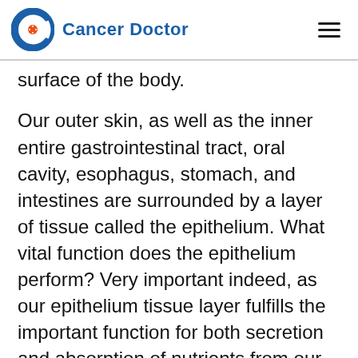Cancer Doctor
surface of the body.
Our outer skin, as well as the inner entire gastrointestinal tract, oral cavity, esophagus, stomach, and intestines are surrounded by a layer of tissue called the epithelium. What vital function does the epithelium perform? Very important indeed, as our epithelium tissue layer fulfills the important function for both secretion and absorption of nutrients from our food. If the very absorption of